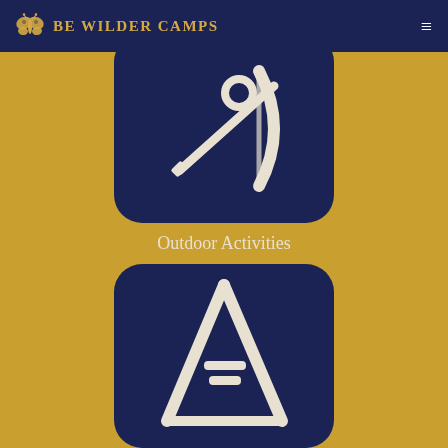Be Wilder Camps
[Figure (illustration): Dark navy rounded square icon with an archery bow and arrow illustration in cream/beige color]
Outdoor Activities
[Figure (illustration): Dark navy rounded square icon with a teepee/tent illustration in cream/beige color]